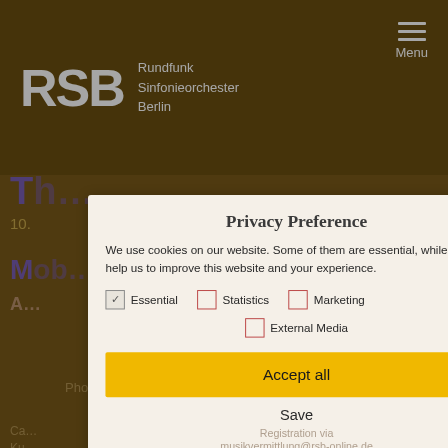RSB Rundfunk Sinfonieorchester Berlin
Privacy Preference
We use cookies on our website. Some of them are essential, while others help us to improve this website and your experience.
Essential (checked), Statistics (unchecked), Marketing (unchecked), External Media (unchecked)
Accept all
Save
Accept only essential cookies